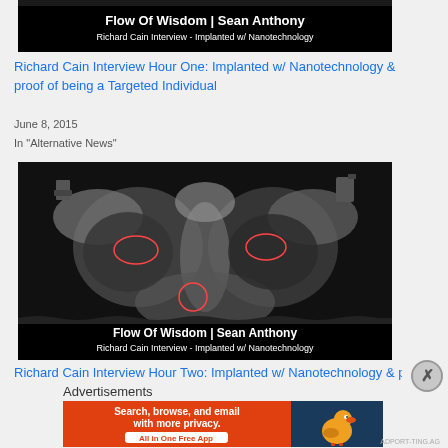[Figure (screenshot): YouTube thumbnail with black background showing 'Flow Of Wisdom | Sean Anthony' and 'Richard Cain Interview - Implanted w/ Nanotechnology']
Richard Cain Interview Hour One: Implanted w/ Nanotechnology & proof of being a Targeted Individual
June 8, 2015
In "Alternative News"
[Figure (photo): X-ray chest image with red circles highlighting areas of interest, with 'Flow Of Wisdom | Sean Anthony - Richard Cain Interview - Implanted w/ Nanotechnology' overlay at bottom]
Richard Cain Interview Hour Two: Implanted w/ Nanotechnology & pro...
Advertisements
[Figure (screenshot): DuckDuckGo advertisement banner: 'Search, browse, and email with more privacy. All in One Free App' with DuckDuckGo duck logo on blue background]